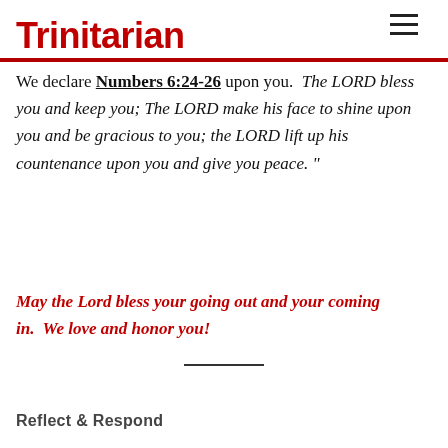Trinitarian
We declare Numbers 6:24-26 upon you.  The LORD bless you and keep you; The LORD make his face to shine upon you and be gracious to you; the LORD lift up his countenance upon you and give you peace.”
May the Lord bless your going out and your coming in.  We love and honor you!
Reflect & Respond